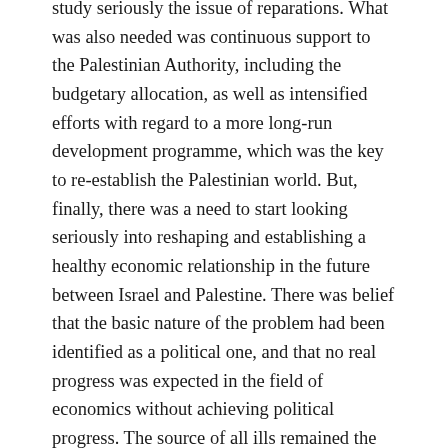study seriously the issue of reparations. What was also needed was continuous support to the Palestinian Authority, including the budgetary allocation, as well as intensified efforts with regard to a more long-run development programme, which was the key to re-establish the Palestinian world. But, finally, there was a need to start looking seriously into reshaping and establishing a healthy economic relationship in the future between Israel and Palestine. There was belief that the basic nature of the problem had been identified as a political one, and that no real progress was expected in the field of economics without achieving political progress. The source of all ills remained the occupation, which had transformed into a colonial phenomenon. The first step towards peace could only be full cessation of Israel's expansionist designs and its concomitant actions.
The Palestinians had continued to implement their reform programme, both before and after the presentation of the Road Map, and had done so in all spheres of government. Israeli